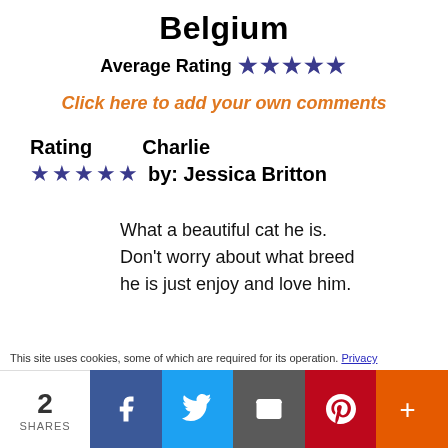Belgium
Average Rating ★★★★★
Click here to add your own comments
Rating     Charlie
★★★★★ by: Jessica Britton
What a beautiful cat he is. Don't worry about what breed he is just enjoy and love him.
This site uses cookies, some of which are required for its operation. Privacy
2 SHARES [Facebook] [Twitter] [Email] [Pinterest] [More]